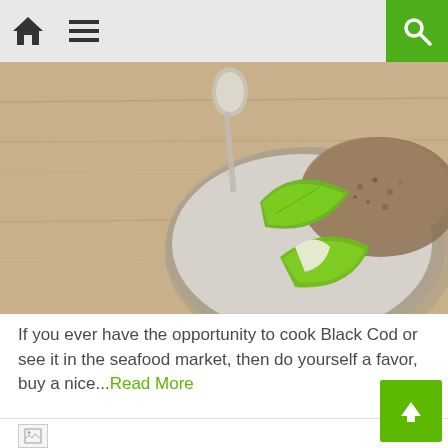Navigation bar with home icon, menu icon, and search button
[Figure (photo): Overhead shot of a plate with lime wedges, quinoa/grains, and a spoon on a wooden table surface]
If you ever have the opportunity to cook Black Cod or see it in the seafood market, then do yourself a favor, buy a nice...Read More
[Figure (photo): Broken image placeholder icon]
[Figure (other): Back to top arrow button in green]